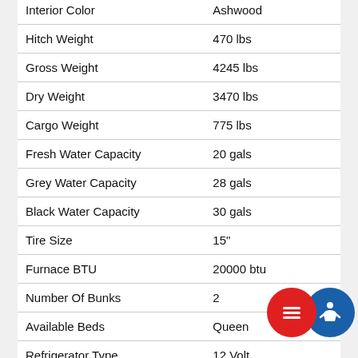| Specification | Value |
| --- | --- |
| Interior Color | Ashwood |
| Hitch Weight | 470 lbs |
| Gross Weight | 4245 lbs |
| Dry Weight | 3470 lbs |
| Cargo Weight | 775 lbs |
| Fresh Water Capacity | 20 gals |
| Grey Water Capacity | 28 gals |
| Black Water Capacity | 30 gals |
| Tire Size | 15" |
| Furnace BTU | 20000 btu |
| Number Of Bunks | 2 |
| Available Beds | Queen |
| Refrigerator Type | 12 Volt |
| Refrigerator Size | 8 cu ft |
| Cooktop Burners | 2 |